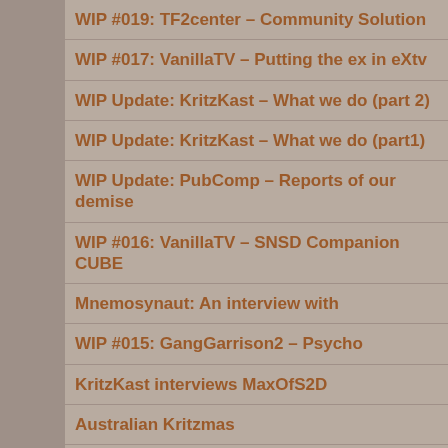WIP #019: TF2center – Community Solution
WIP #017: VanillaTV – Putting the ex in eXtv
WIP Update: KritzKast – What we do (part 2)
WIP Update: KritzKast – What we do (part1)
WIP Update: PubComp – Reports of our demise
WIP #016: VanillaTV – SNSD Companion CUBE
Mnemosynaut: An interview with
WIP #015: GangGarrison2 – Psycho
KritzKast interviews MaxOfS2D
Australian Kritzmas
WIP #014: VanillaTV – The Unknown Unicorn Hat
WIP #013: keekerdc writes again
WIP #012: Chemical Alie – Model Engineering...